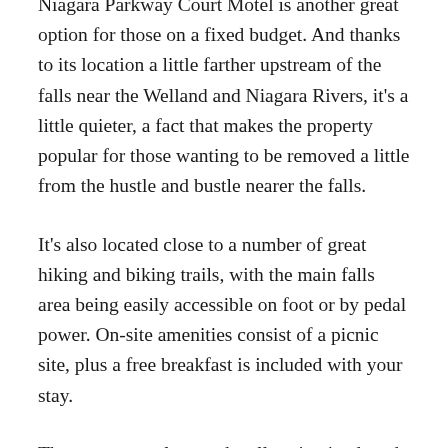Niagara Parkway Court Motel is another great option for those on a fixed budget. And thanks to its location a little farther upstream of the falls near the Welland and Niagara Rivers, it's a little quieter, a fact that makes the property popular for those wanting to be removed a little from the hustle and bustle nearer the falls.
It's also located close to a number of great hiking and biking trails, with the main falls area being easily accessible on foot or by pedal power. On-site amenities consist of a picnic site, plus a free breakfast is included with your stay.
The rooms are clean and well-maintained, and come in a variety of sleeping configurations. Popular